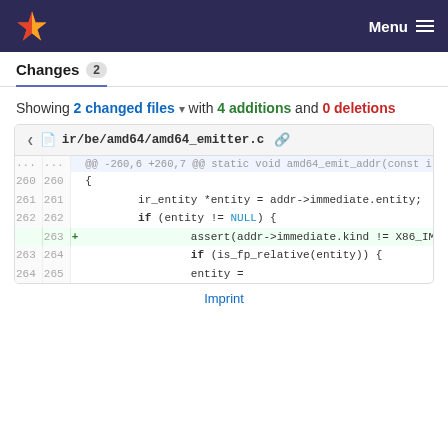Menu
Changes 2
Showing 2 changed files with 4 additions and 0 deletions
| old_ln | new_ln | sign | code |
| --- | --- | --- | --- |
| ... | ... |  | @@ -260,6 +260,7 @@ static void amd64_emit_addr(const ir_node *const node, |
| 260 | 260 |  | { |
| 261 | 261 |  |         ir_entity *entity = addr->immediate.entity; |
| 262 | 262 |  |         if (entity != NULL) { |
|  | 263 | + |                 assert(addr->immediate.kind != X86_IMM_VALUE); |
| 263 | 264 |  |                 if (is_fp_relative(entity)) { |
| 264 | 265 |  |                 entity = |
Imprint